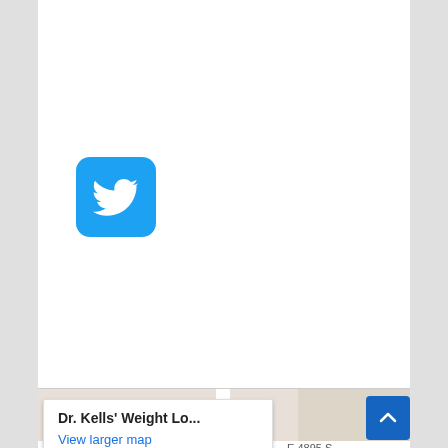[Figure (logo): Twitter bird logo icon — white bird on blue rounded-square background]
[Figure (map): Google Maps screenshot showing Dr. Kells' Weight Loss location marker (red pin), a blue location pin, and Al's The Chain Saw King marker. Map shows streets including E 4895 S, 900 E, with nearby businesses Three Fountains East, Global Link, Queen B, and Sustainable Living Academy Inc. A map tooltip at top shows 'Dr. Kells' Weight Lo...' with 'View larger map' link.]